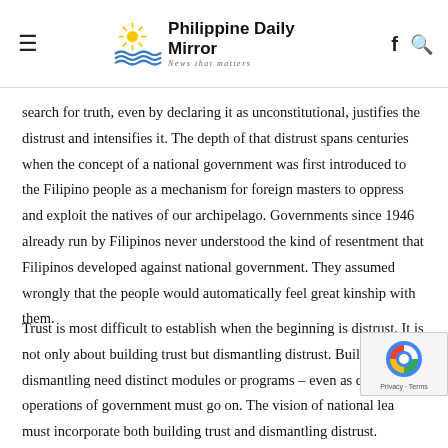Philippine Daily Mirror — News that matters
search for truth, even by declaring it as unconstitutional, justifies the distrust and intensifies it. The depth of that distrust spans centuries when the concept of a national government was first introduced to the Filipino people as a mechanism for foreign masters to oppress and exploit the natives of our archipelago. Governments since 1946 already run by Filipinos never understood the kind of resentment that Filipinos developed against national government. They assumed wrongly that the people would automatically feel great kinship with them.
Trust is most difficult to establish when the beginning is distrust. It is not only about building trust but dismantling distrust. Building and dismantling need distinct modules or programs – even as daily operations of government must go on. The vision of national leaders must incorporate both building trust and dismantling distrust. Building trust is governing with integrity and transparency. Dismantling distrust